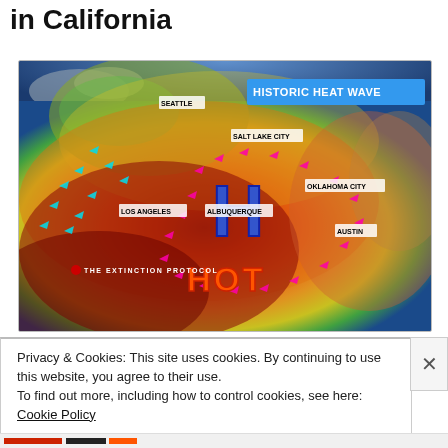in California
[Figure (map): Weather map showing a historic heat wave over the western United States with a large high pressure system (H) centered over New Mexico/Arizona area. City labels include Seattle, Salt Lake City, Los Angeles, Albuquerque, Oklahoma City, and Austin. Cyan and magenta wind arrows shown. Text reads HISTORIC HEAT WAVE and HOT. Watermark: THE EXTINCTION PROTOCOL.]
Privacy & Cookies: This site uses cookies. By continuing to use this website, you agree to their use.
To find out more, including how to control cookies, see here: Cookie Policy
Close and accept